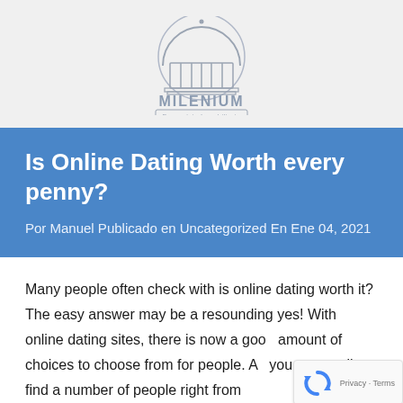[Figure (logo): Milenium Franquicia Inmobiliaria logo — dome/arch building icon with text MILENIUM and Franquicia Inmobiliaria]
Is Online Dating Worth every penny?
Por Manuel Publicado en Uncategorized En Ene 04, 2021
Many people often check with is online dating worth it? The easy answer may be a resounding yes! With online dating sites, there is now a good amount of choices to choose from for people. A you can easily find a number of people right from